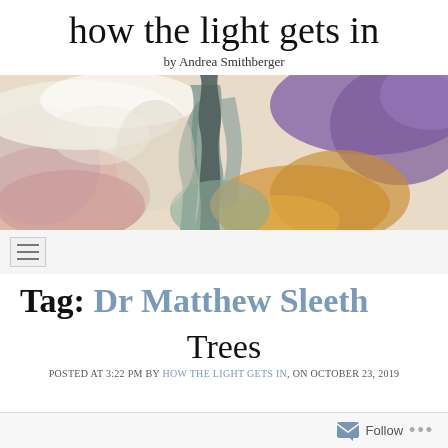how the light gets in
by Andrea Smithberger
[Figure (photo): Watercolor painting banner image with abstract washes of color including teal, purple, pink, yellow-orange, and grey leaf/tree shapes on a light background]
Tag: Dr Matthew Sleeth
Trees
Posted at 3:22 pm by How the Light Gets In, on October 23, 2019
Follow